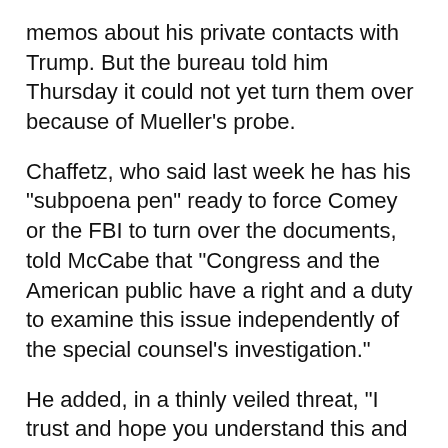memos about his private contacts with Trump. But the bureau told him Thursday it could not yet turn them over because of Mueller's probe.
Chaffetz, who said last week he has his "subpoena pen" ready to force Comey or the FBI to turn over the documents, told McCabe that "Congress and the American public have a right and a duty to examine this issue independently of the special counsel's investigation."
He added, in a thinly veiled threat, "I trust and hope you understand this and make the right decision — to produce these documents to the committee immediately and on a voluntary basis."
Chaffetz's letter comes a month before he is scheduled to leave office after another term scheduled...